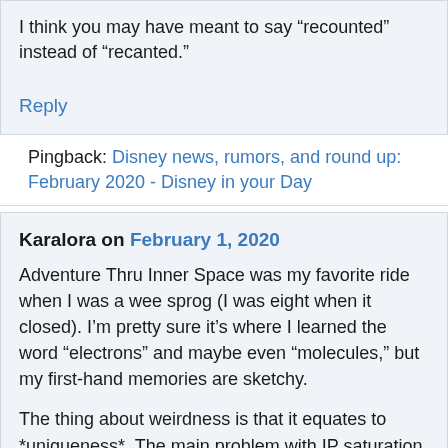I think you may have meant to say “recounted” instead of “recanted.”
Reply
Pingback: Disney news, rumors, and round up: February 2020 - Disney in your Day
Karalora on February 1, 2020
Adventure Thru Inner Space was my favorite ride when I was a wee sprog (I was eight when it closed). I’m pretty sure it’s where I learned the word “electrons” and maybe even “molecules,” but my first-hand memories are sketchy.
The thing about weirdness is that it equates to *uniqueness*. The main problem with IP saturation is that it reduces the theme parks to